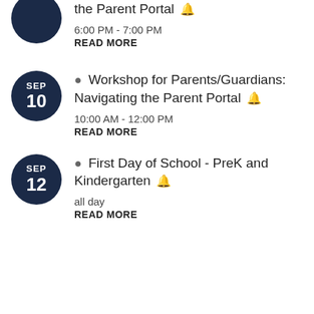the Parent Portal 🔔 6:00 PM - 7:00 PM READ MORE
● Workshop for Parents/Guardians: Navigating the Parent Portal 🔔 10:00 AM - 12:00 PM READ MORE
● First Day of School - PreK and Kindergarten 🔔 all day READ MORE